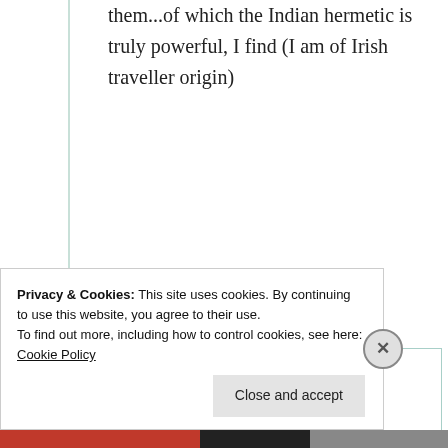them...of which the Indian hermetic is truly powerful, I find (I am of Irish traveller origin)
★ Liked by 1 person
Suma Reddy
25th Aug 2021 at 9:36 pm
Privacy & Cookies: This site uses cookies. By continuing to use this website, you agree to their use.
To find out more, including how to control cookies, see here: Cookie Policy
Close and accept